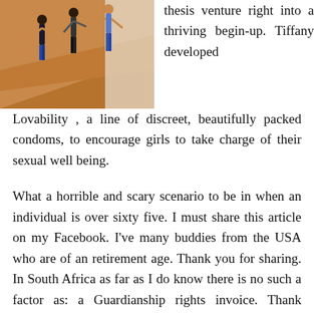[Figure (photo): People climbing a sandy slope outdoors, one person reaching back to help another.]
thesis venture right into a thriving begin-up. Tiffany developed Lovability , a line of discreet, beautifully packed condoms, to encourage girls to take charge of their sexual well being.
What a horrible and scary scenario to be in when an individual is over sixty five. I must share this article on my Facebook. I've many buddies from the USA who are of an retirement age. Thank you for sharing. In South Africa as far as I do know there is no such a factor as: a Guardianship rights invoice. Thank goodness your mom had her children to defend her against this shocking injustice.